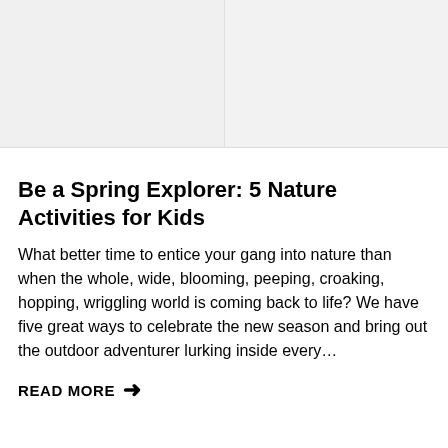[Figure (photo): Large image placeholder area at the top of the page, light gray background, split into two sections.]
Be a Spring Explorer: 5 Nature Activities for Kids
What better time to entice your gang into nature than when the whole, wide, blooming, peeping, croaking, hopping, wriggling world is coming back to life? We have five great ways to celebrate the new season and bring out the outdoor adventurer lurking inside every…
READ MORE →